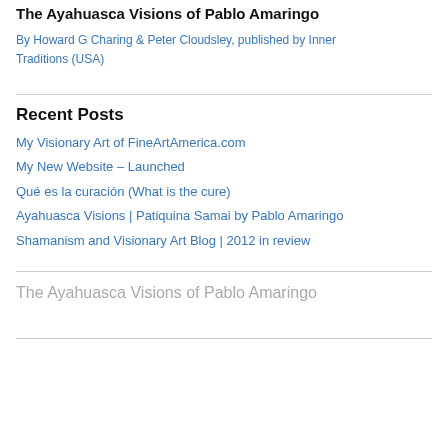The Ayahuasca Visions of Pablo Amaringo
[Figure (photo): Broken image placeholder: By Howard G Charing & Peter Cloudsley, published by Inner Traditions (USA)]
Recent Posts
My Visionary Art of FineArtAmerica.com
My New Website – Launched
Qué es la curación (What is the cure)
Ayahuasca Visions | Patiquina Samai by Pablo Amaringo
Shamanism and Visionary Art Blog | 2012 in review
The Ayahuasca Visions of Pablo Amaringo